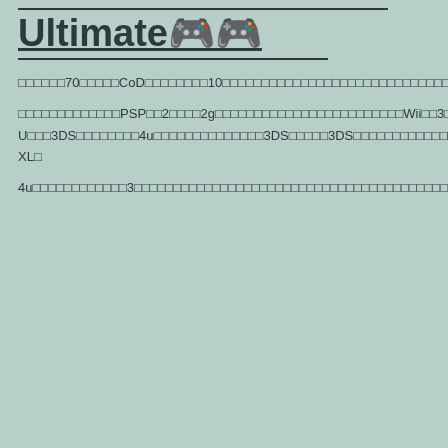Ultimate🎮🎮
□□□□□□70□□□□□CoD□□□□□□□□10□□□□□□□□□□□□□□□□□□□□□□□□□□□□□□□□□□□□□□□□□□□□□□□□□□□□□□□□
□□□□□□□□□□□□□PSP□□2□□□□2g□□□□□□□□□□□□□□□□□□□□□□□□Wii□□3□□□□□□Wii□□□□□□□□□Wii□□□□□□□□□□□□□□□□□□mh3u□□□Wii U□□□3DS□□□□□□□□4u□□□□□□□□□□□□□□3DS□□□□□3DS□□□□□□□□□□□□□□□□□□□□□□□3DS XL□
4u□□□□□□□□□□□□3□□□□□□□□□□□□□□□□□□□□□□□□□□□□□□□□□□□□□□□□□□□□□□□□□□□□□□□□□□□□□□□□□□□□□□□□□□2□□3□□□□□□□□□□□□□□□□□□□□□□2□□□□□□□□□□□□□□□□□□□□□□□□□□□□□□□□□□□□□□□□□□□□□3□□□□□